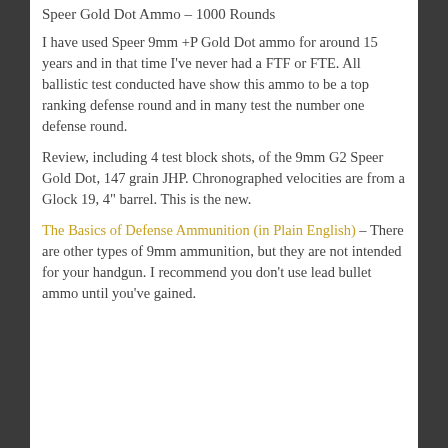Speer Gold Dot Ammo – 1000 Rounds
I have used Speer 9mm +P Gold Dot ammo for around 15 years and in that time I've never had a FTF or FTE. All ballistic test conducted have show this ammo to be a top ranking defense round and in many test the number one defense round.
Review, including 4 test block shots, of the 9mm G2 Speer Gold Dot, 147 grain JHP. Chronographed velocities are from a Glock 19, 4" barrel. This is the new.
The Basics of Defense Ammunition (in Plain English) – There are other types of 9mm ammunition, but they are not intended for your handgun. I recommend you don't use lead bullet ammo until you've gained.